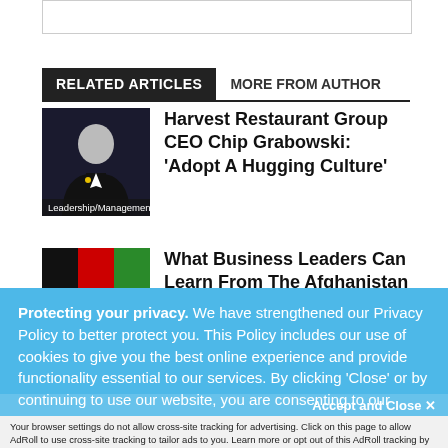RELATED ARTICLES   MORE FROM AUTHOR
[Figure (photo): Photo of man in tuxedo with yellow pin, dark background. Label: Leadership/Management]
Harvest Restaurant Group CEO Chip Grabowski: 'Adopt A Hugging Culture'
[Figure (photo): Photo with Afghan flag colors - black, red, green]
What Business Leaders Can Learn From The Afghanistan Disaster
Protecting your privacy. We have strengthened our Privacy Policy to better protect you. This Policy includes our use of cookies to give you the best online experience and provide functionality essential to our services. By clicking 'Close' or by continuing to use our website, you are consenting to our
Accept and Close ✕
Your browser settings do not allow cross-site tracking for advertising. Click on this page to allow AdRoll to use cross-site tracking to tailor ads to you. Learn more or opt out of this AdRoll tracking by clicking here. This message only appears once.